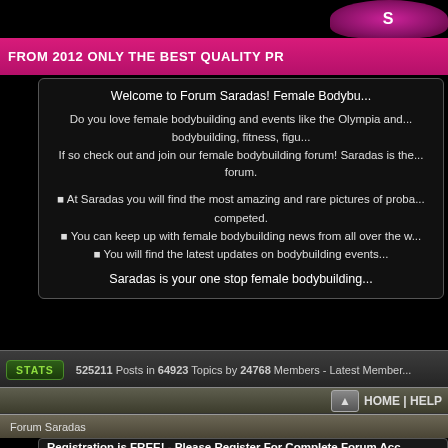[Figure (screenshot): Top banner area with pink/magenta gradient bar reading 'FROM 2012 ONLY THE BEST QUALITY PR']
Welcome to Forum Saradas! Female Bodybu...
Do you love female bodybuilding and events like the Olympia and... bodybuilding, fitness, figu... If so check out and join our female bodybuilding forum! Saradas is the... forum.
At Saradas you will find the most amazing and rare pictures of proba... competed.
You can keep up with female bodybuilding news from all over the w...
You will find the latest updates on bodybuilding events...
Saradas is your one stop female bodybuilding...
525211 Posts in 64923 Topics by 24768 Members - Latest Member...
HOME | HELP
Forum Saradas
Registration is FREE! - Please Register For Complete Forum Ac...